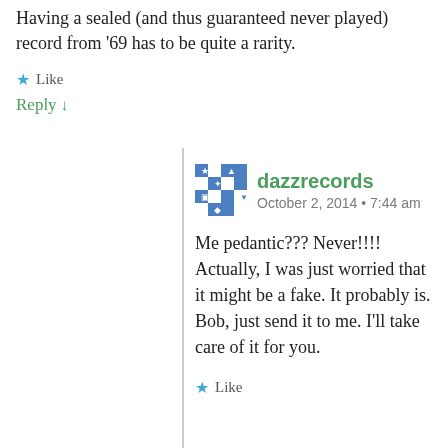Having a sealed (and thus guaranteed never played) record from '69 has to be quite a rarity.
★ Like
Reply ↓
dazzrecords
October 2, 2014 • 7:44 am
Me pedantic??? Never!!!! Actually, I was just worried that it might be a fake. It probably is. Bob, just send it to me. I'll take care of it for you.
★ Like